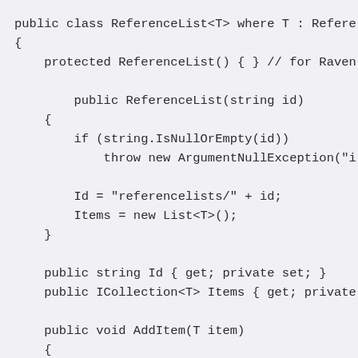public class ReferenceList<T> where T : Refere
{
    protected ReferenceList() { } // for Raven

        public ReferenceList(string id)
    {
        if (string.IsNullOrEmpty(id))
            throw new ArgumentNullException("i

        Id = "referencelists/" + id;
        Items = new List<T>();
    }

    public string Id { get; private set; }
    public ICollection<T> Items { get; private

    public void AddItem(T item)
    {
        if (item == null)
            throw new ArgumentNullException("i